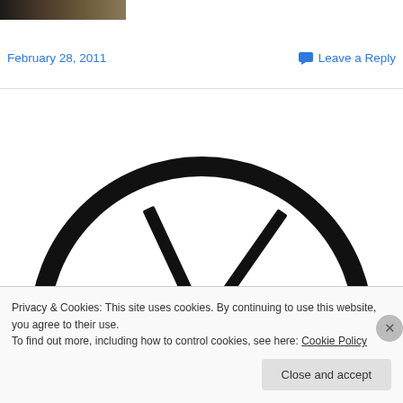[Figure (photo): Dark photograph thumbnail at top left]
February 28, 2011   Leave a Reply
[Figure (illustration): Doomsday clock face showing minute hand near midnight, only upper semicircle visible, black thick ring with dark clock hands pointing near 11:55]
Privacy & Cookies: This site uses cookies. By continuing to use this website, you agree to their use.
To find out more, including how to control cookies, see here: Cookie Policy
Close and accept